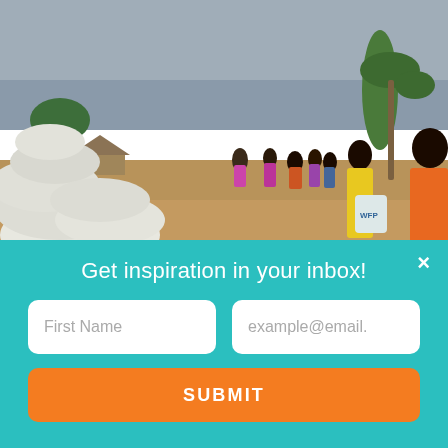[Figure (photo): Outdoor food distribution scene. Large white sacks of grain are piled on the left. Groups of people, mostly women in colorful clothing, stand on dry ground. A woman in a yellow outfit holds a white bag. Palm trees and thatched-roof huts are visible in the background under an overcast sky.]
Get inspiration in your inbox!
First Name
example@email.
SUBMIT